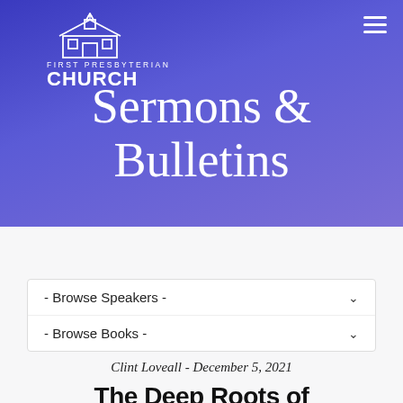[Figure (logo): First Presbyterian Church logo with church building icon in white, with text 'FIRST PRESBYTERIAN' above and 'CHURCH' below in white on purple background]
Sermons & Bulletins
- Browse Speakers -
- Browse Books -
Clint Loveall - December 5, 2021
The Deep Roots of